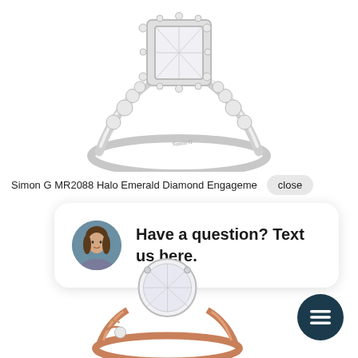[Figure (photo): White gold halo engagement ring with emerald-cut center diamond and round diamond accents along the band, photographed on white background]
Simon G MR2088 Halo Emerald Diamond Engageme close
[Figure (screenshot): Chat widget popup showing a woman's avatar photo and the text 'Have a question? Text us here.']
[Figure (photo): Rose gold and white gold filigree engagement ring with round center diamond, partially visible at bottom of page]
[Figure (other): Dark teal circular chat icon button with message/lines icon]